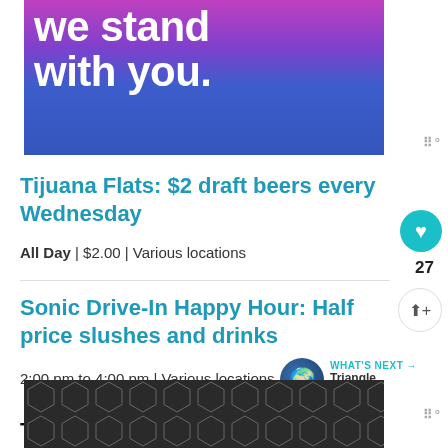[Figure (illustration): Advertisement banner with gradient background from pink/purple to blue with white bold text 'we stand with you.']
Tijuana Flats: $2 draft beers every Wednesday
All Day | $2.00 | Various locations
Sonic Drive-In Happy Hour: Half price slushes and drinks
2:00 pm to 4:00 pm | Various locations
WHAT'S NEXT → Triangle Events...
Thursday, August 25, 2022
[Figure (illustration): Bottom advertisement banner with dark background and geometric hexagon/diamond pattern]